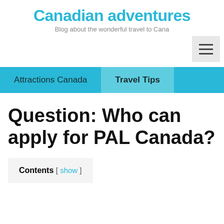Canadian adventures
Blog about the wonderful travel to Cana
Question: Who can apply for PAL Canada?
Contents [ show ]